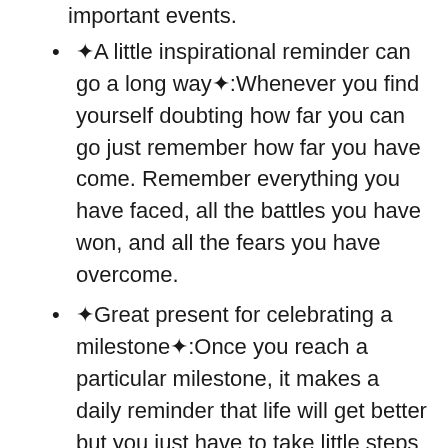important events.
❧A little inspirational reminder can go a long way❧:Whenever you find yourself doubting how far you can go just remember how far you have come. Remember everything you have faced, all the battles you have won, and all the fears you have overcome.
❧Great present for celebrating a milestone❧:Once you reach a particular milestone, it makes a daily reminder that life will get better but you just have to take little steps